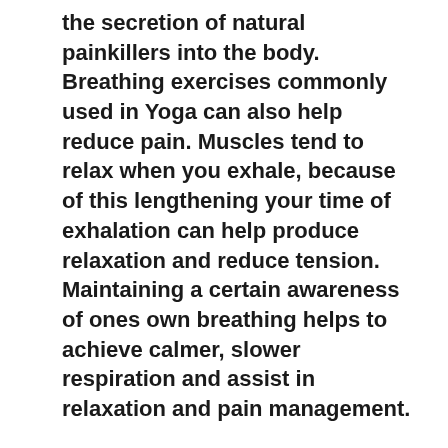the secretion of natural painkillers into the body. Breathing exercises commonly used in Yoga can also help reduce pain. Muscles tend to relax when you exhale, because of this lengthening your time of exhalation can help produce relaxation and reduce tension. Maintaining a certain awareness of ones own breathing helps to achieve calmer, slower respiration and assist in relaxation and pain management.